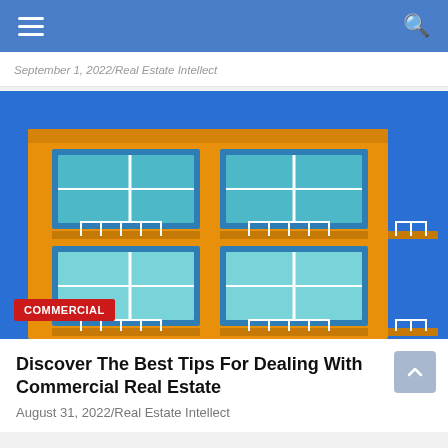Navigation bar with hamburger menu and search icon
September 1, 2022/Real Estate Intellect
[Figure (photo): Orange/yellow multi-story commercial building with teal/blue windows and white metal railings on balconies, set against a bright blue sky. A red badge reads COMMERCIAL at the bottom left.]
Discover The Best Tips For Dealing With Commercial Real Estate
August 31, 2022/Real Estate Intellect